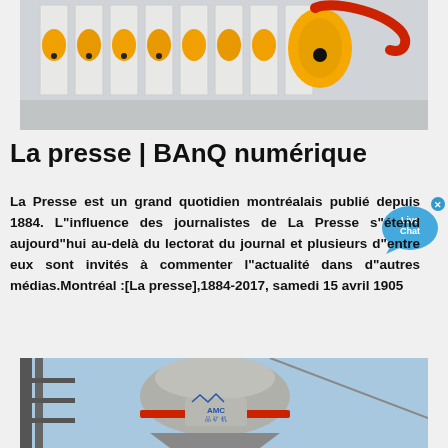[Figure (photo): Industrial equipment with yellow cylindrical vibrating motors mounted in white metal frames, in a row]
La presse | BAnQ numérique
La Presse est un grand quotidien montréalais publié depuis 1884. L"influence des journalistes de La Presse s"étend aujourd"hui au-delà du lectorat du journal et plusieurs d"entre eux sont invités à commenter l"actualité dans d"autres médias.Montréal :[La presse],1884-2017, samedi 15 avril 1905
[Figure (photo): Industrial crushing or milling machine with AMC branding, large dome-shaped metal equipment against a blue sky with steel structure]